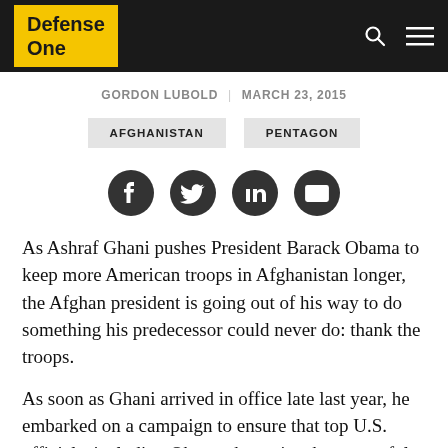Defense One
GORDON LUBOLD  |  MARCH 23, 2015
AFGHANISTAN
PENTAGON
[Figure (infographic): Social sharing icons: Facebook, Twitter, LinkedIn, Email]
As Ashraf Ghani pushes President Barack Obama to keep more American troops in Afghanistan longer, the Afghan president is going out of his way to do something his predecessor could never do: thank the troops.
As soon as Ghani arrived in office late last year, he embarked on a campaign to ensure that top U.S. officials, including Obama, knew just how grateful his